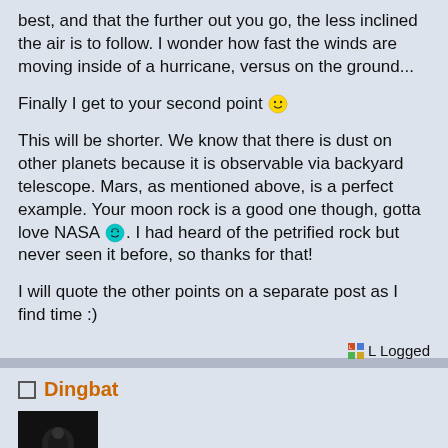best, and that the further out you go, the less inclined the air is to follow. I wonder how fast the winds are moving inside of a hurricane, versus on the ground...
Finally I get to your second point 😁
This will be shorter. We know that there is dust on other planets because it is observable via backyard telescope. Mars, as mentioned above, is a perfect example. Your moon rock is a good one though, gotta love NASA 😊. I had heard of the petrified rock but never seen it before, so thanks for that!
I will quote the other points on a separate post as I find time :)
Logged
Dingbat
[Figure (photo): Dark avatar image of user Dingbat]